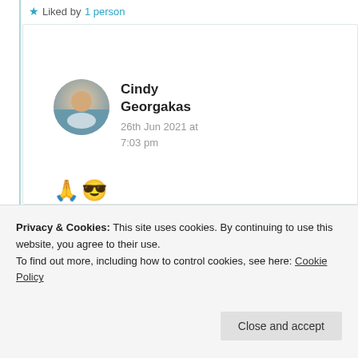★ Liked by 1 person
Cindy Georgakas
26th Jun 2021 at 7:03 pm
🙏😎
★ Liked by 1 person
26th Jun 2021 at
Privacy & Cookies: This site uses cookies. By continuing to use this website, you agree to their use.
To find out more, including how to control cookies, see here: Cookie Policy
Close and accept